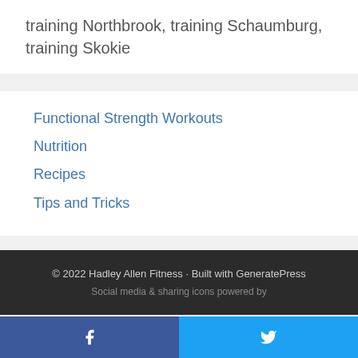training Northbrook, training Schaumburg, training Skokie
Functional Strength Workouts
Nutrition
Recipes
Tips and Tricks
© 2022 Hadley Allen Fitness · Built with GeneratePress
Social media & sharing icons powered by